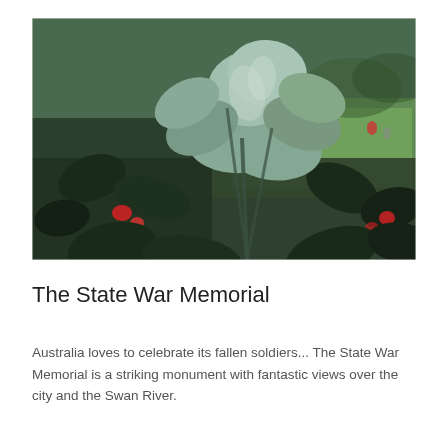[Figure (photo): Close-up photograph of large silvery-green eucalyptus leaves in the foreground, with a blurred background showing a green park lawn, colorful flowers, and people sitting in the distance.]
The State War Memorial
Australia loves to celebrate its fallen soldiers... The State War Memorial is a striking monument with fantastic views over the city and the Swan River.